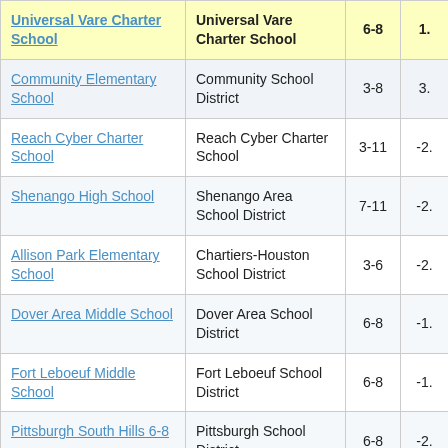| School | District/Organization | Grades | Score |
| --- | --- | --- | --- |
| Universal Vare Charter School | Universal Vare Charter School | 6-8 | 1. |
| Community Elementary School | Community School District | 3-8 | 3. |
| Reach Cyber Charter School | Reach Cyber Charter School | 3-11 | -2. |
| Shenango High School | Shenango Area School District | 7-11 | -2. |
| Allison Park Elementary School | Chartiers-Houston School District | 3-6 | -2. |
| Dover Area Middle School | Dover Area School District | 6-8 | -1. |
| Fort Leboeuf Middle School | Fort Leboeuf School District | 6-8 | -1. |
| Pittsburgh South Hills 6-8 | Pittsburgh School District | 6-8 | -2. |
| Hartranft John F | Philadelphia City |  |  |